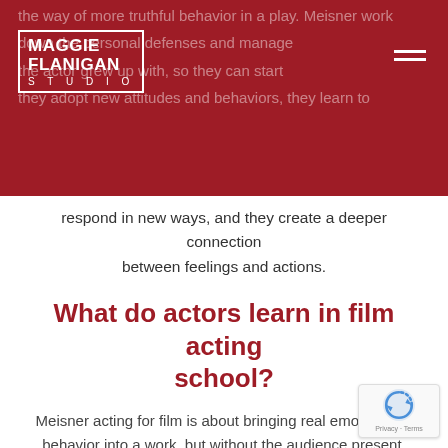the way of more truthful behavior in a play. Meisner work down the personal defenses and manage the actor grew up with, so they can start they adopt new attitudes and behaviors, they learn to
respond in new ways, and they create a deeper connection between feelings and actions.
What do actors learn in film acting school?
Meisner acting for film is about bringing real emotion and behavior into a work, but without the audience present. On-camera work requires the actor to make subtle adjustments compared to theater work. Actors must be fully present during a film shoot or onstage. In either case, actors need to be deeply rooted in honest emotions and behavior. Most schools teach both acting for film and theater because these foundational requirements are the same. Students study Acting 1 or Acting Techniques,